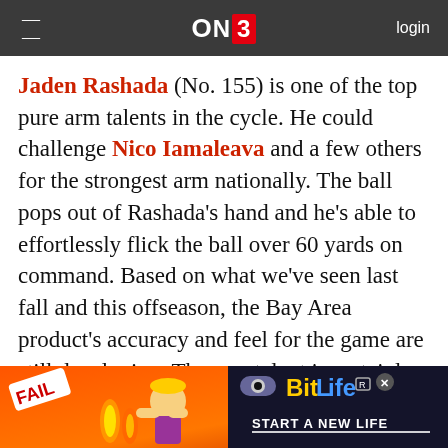ON3 | login
Jaden Rashada (No. 155) is one of the top pure arm talents in the cycle. He could challenge Nico Iamaleava and a few others for the strongest arm nationally. The ball pops out of Rashada’s hand and he’s able to effortlessly flick the ball over 60 yards on command. Based on what we’ve seen last fall and this offseason, the Bay Area product’s accuracy and feel for the game are still developing. The arm talent is certainly tantalizing, but we’ll be paying attention to his consistency in Los
[Figure (other): BitLife mobile game advertisement banner with FAIL badge, flames, cartoon character, and START A NEW LIFE tagline on dark background]